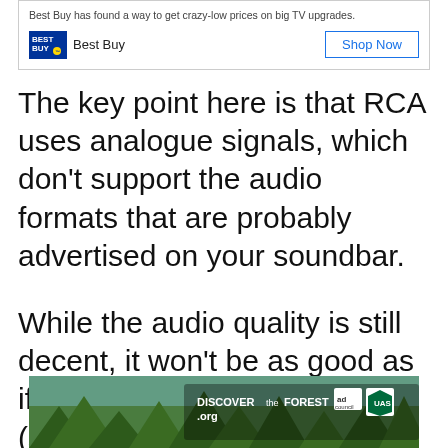[Figure (screenshot): Best Buy advertisement box with logo and Shop Now button, with text: Best Buy has found a way to get crazy-low prices on big TV upgrades.]
The key point here is that RCA uses analogue signals, which don't support the audio formats that are probably advertised on your soundbar.
While the audio quality is still decent, it won't be as good as if you were using digital audio (such as HDMI or optical). Check to see if both your TV and soundbar have RCA connections. If one of th... ext solu...
[Figure (photo): Discover the Forest advertisement banner at bottom of page showing forest scenery with text DISCOVERtheFOREST.org and ad council / US Forest Service logos]